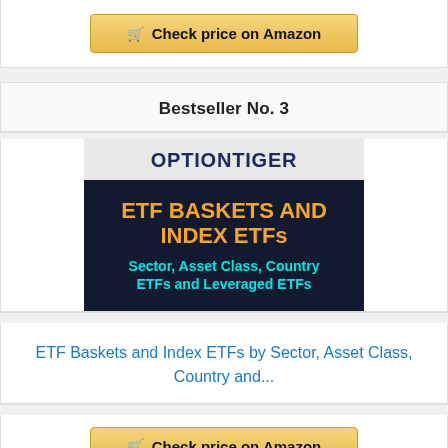[Figure (other): Check price on Amazon button at the top]
Bestseller No. 3
[Figure (illustration): OptionTiger book cover: ETF Baskets and Index ETFs by Sector, Asset Class, Country ETFs and Leveraged ETFs]
ETF Baskets and Index ETFs by Sector, Asset Class, Country and...
[Figure (other): Check price on Amazon button at the bottom]